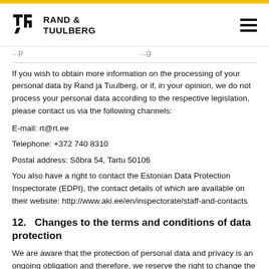Rand & Tuulberg
If you wish to obtain more information on the processing of your personal data by Rand ja Tuulberg, or if, in your opinion, we do not process your personal data according to the respective legislation, please contact us via the following channels:
E-mail: rt@rt.ee
Telephone: +372 740 8310
Postal address: Sõbra 54, Tartu 50106
You also have a right to contact the Estonian Data Protection Inspectorate (EDPI), the contact details of which are available on their website: http://www.aki.ee/en/inspectorate/staff-and-contacts
12.   Changes to the terms and conditions of data protection
We are aware that the protection of personal data and privacy is an ongoing obligation and therefore, we reserve the right to change the terms and conditions of data protection from time to time.
The current terms and conditions of data protection have been confirmed